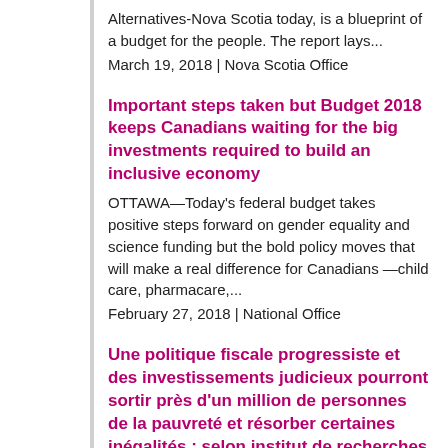Alternatives-Nova Scotia today, is a blueprint of a budget for the people. The report lays...
March 19, 2018 | Nova Scotia Office
Important steps taken but Budget 2018 keeps Canadians waiting for the big investments required to build an inclusive economy
OTTAWA—Today's federal budget takes positive steps forward on gender equality and science funding but the bold policy moves that will make a real difference for Canadians —child care, pharmacare,...
February 27, 2018 | National Office
Une politique fiscale progressiste et des investissements judicieux pourront sortir près d'un million de personnes de la pauvreté et résorber certaines inégalités : selon institut de recherches
OTTAWA — Le Budget fédéral alternatif (BFA) de 2018, publié aujourd'hui par le Centre canadien des politiques alternatives (CCPA), trace un itinéraire du chemin à